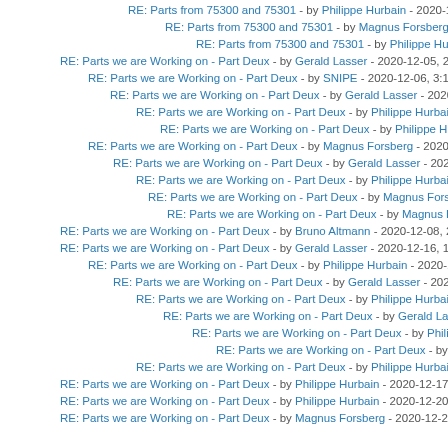RE: Parts from 75300 and 75301 - by Philippe Hurbain - 2020-12-05, 18
RE: Parts from 75300 and 75301 - by Magnus Forsberg - 2020-12-05
RE: Parts from 75300 and 75301 - by Philippe Hurbain - 2020-12-0
RE: Parts we are Working on - Part Deux - by Gerald Lasser - 2020-12-05, 20
RE: Parts we are Working on - Part Deux - by SNIPE - 2020-12-06, 3:15
RE: Parts we are Working on - Part Deux - by Gerald Lasser - 2020-12-1
RE: Parts we are Working on - Part Deux - by Philippe Hurbain - 2020-
RE: Parts we are Working on - Part Deux - by Philippe Hurbain - 20
RE: Parts we are Working on - Part Deux - by Magnus Forsberg - 2020-12-0
RE: Parts we are Working on - Part Deux - by Gerald Lasser - 2020-12-0
RE: Parts we are Working on - Part Deux - by Philippe Hurbain - 2020-
RE: Parts we are Working on - Part Deux - by Magnus Forsberg - 2020
RE: Parts we are Working on - Part Deux - by Magnus Forsberg - 2
RE: Parts we are Working on - Part Deux - by Bruno Altmann - 2020-12-08, 2:
RE: Parts we are Working on - Part Deux - by Gerald Lasser - 2020-12-16, 12:
RE: Parts we are Working on - Part Deux - by Philippe Hurbain - 2020-12-16
RE: Parts we are Working on - Part Deux - by Gerald Lasser - 2020-12-1
RE: Parts we are Working on - Part Deux - by Philippe Hurbain - 2020-
RE: Parts we are Working on - Part Deux - by Gerald Lasser - 2020
RE: Parts we are Working on - Part Deux - by Philippe Hurbain
RE: Parts we are Working on - Part Deux - by Philippe Hurbain
RE: Parts we are Working on - Part Deux - by Philippe Hurbain - 2020-
RE: Parts we are Working on - Part Deux - by Philippe Hurbain - 2020-12-17, 1
RE: Parts we are Working on - Part Deux - by Philippe Hurbain - 2020-12-20, 1
RE: Parts we are Working on - Part Deux - by Magnus Forsberg - 2020-12-21